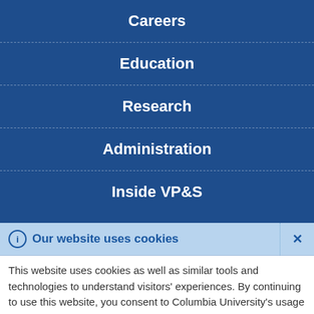Careers
Education
Research
Administration
Inside VP&S
Our website uses cookies
This website uses cookies as well as similar tools and technologies to understand visitors' experiences. By continuing to use this website, you consent to Columbia University's usage of cookies and similar technologies, in accordance with the Columbia University Website Cookie Notice.